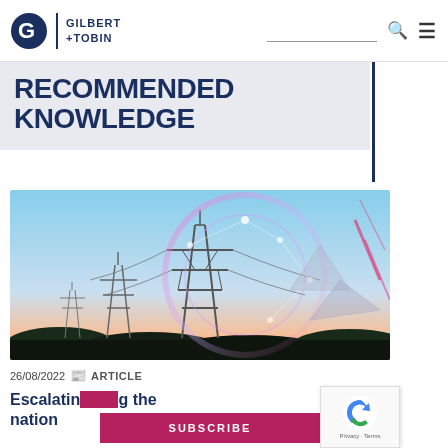Gilbert + Tobin — Navigation header with logo, search, and menu
RECOMMENDED KNOWLEDGE
[Figure (photo): Electric power transmission towers/pylons silhouetted against a dusk sky with digital network graphic overlay showing connected nodes and geometric shapes in blue-pink hues]
26/08/2022 📰 ARTICLE
Escalating … the nation
SUBSCRIBE